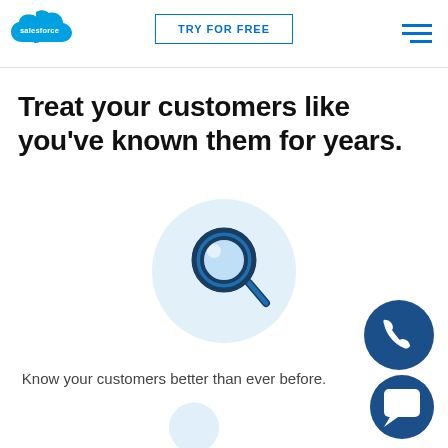salesforce | TRY FOR FREE | [menu]
Treat your customers like you've known them for years.
[Figure (illustration): Large light-blue circle with a magnifying glass icon in dark navy and blue colors in the center]
[Figure (illustration): Dark blue circle with a white telephone/call icon]
Know your customers better than ever before.
[Figure (illustration): Dark blue circle with a white chat/message bubble icon]
[Figure (illustration): Partial light-blue circle with a dark icon visible at the bottom of the page]